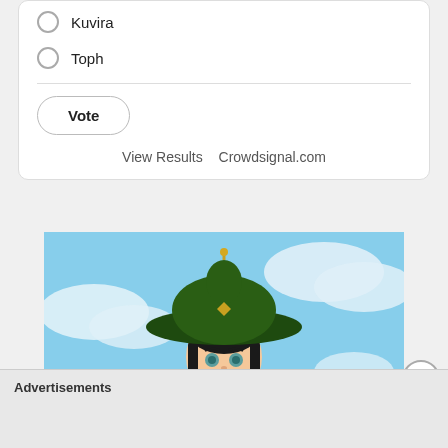Kuvira
Toph
Vote
View Results  Crowdsignal.com
[Figure (illustration): Anime illustration of Toph from Avatar: The Last Airbender, wearing a large green hat and green outfit, looking upward against a blue sky with clouds]
Advertisements